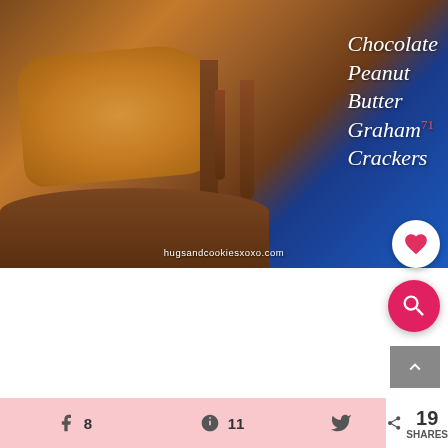[Figure (photo): Close-up photo of chocolate peanut butter graham crackers with chocolate dripping over peanut butter on a graham cracker base, with blue background. Text overlay reads 'Chocolate Peanut Butter Graham Crackers' in white cursive font with website hugsandcookiesxoxo.com at bottom.]
hugsandcookiesxoxo.com
8 (Facebook shares)
11 (Pinterest saves)
(Twitter share)
19 SHARES